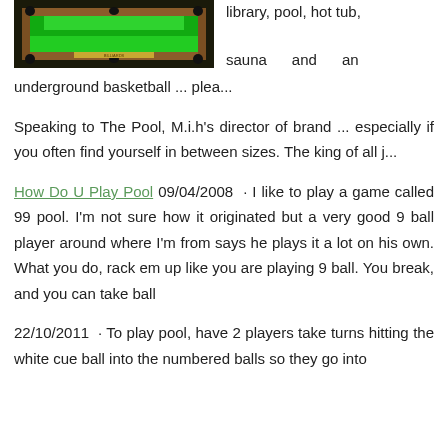[Figure (photo): A pool/billiards table with green felt surface and pockets visible, viewed from an angle, with bright green lighting.]
library, pool, hot tub, sauna and an underground basketball ... plea...
Speaking to The Pool, M.i.h’s director of brand ... especially if you often find yourself in between sizes. The king of all j...
How Do U Play Pool 09/04/2008 · I like to play a game called 99 pool. I’m not sure how it originated but a very good 9 ball player around where I’m from says he plays it a lot on his own. What you do, rack em up like you are playing 9 ball. You break, and you can take ball
22/10/2011 · To play pool, have 2 players take turns hitting the white cue ball into the numbered balls so they go into